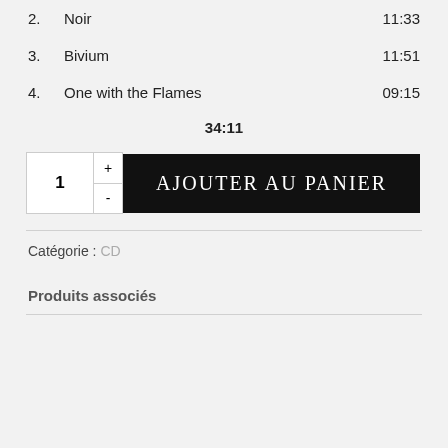2.   Noir   11:33
3.   Bivium   11:51
4.   One with the Flames   09:15
34:11
1  +  -  AJOUTER AU PANIER
Catégorie : CD
Produits associés